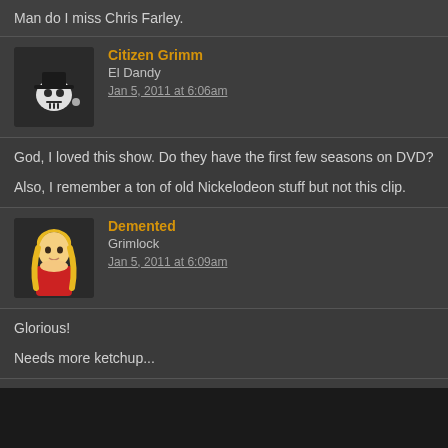Man do I miss Chris Farley.
Citizen Grimm
El Dandy
Jan 5, 2011 at 6:06am
God, I loved this show. Do they have the first few seasons on DVD?

Also, I remember a ton of old Nickelodeon stuff but not this clip.
Demented
Grimlock
Jan 5, 2011 at 6:09am
Glorious!

Needs more ketchup...
Deleted
Jan 5, 2011 at 6:12am
I totally remember this! When they aired the old episodes in like...2009 on The N I saw that episode. I love Farley so much. Miss that guy.